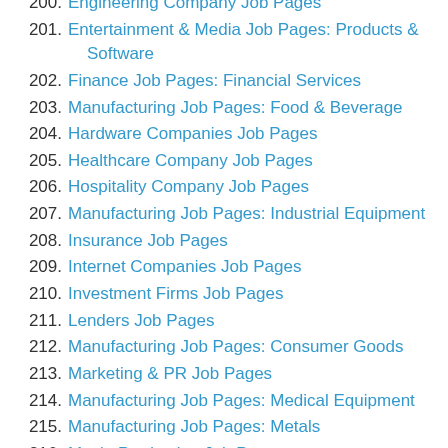200. Engineering Company Job Pages
201. Entertainment & Media Job Pages: Products & Software
202. Finance Job Pages: Financial Services
203. Manufacturing Job Pages: Food & Beverage
204. Hardware Companies Job Pages
205. Healthcare Company Job Pages
206. Hospitality Company Job Pages
207. Manufacturing Job Pages: Industrial Equipment
208. Insurance Job Pages
209. Internet Companies Job Pages
210. Investment Firms Job Pages
211. Lenders Job Pages
212. Manufacturing Job Pages: Consumer Goods
213. Marketing & PR Job Pages
214. Manufacturing Job Pages: Medical Equipment
215. Manufacturing Job Pages: Metals
216. Movie Production Job Pages
217. Networks Companies Job Pages
218. News & Media Job Pages